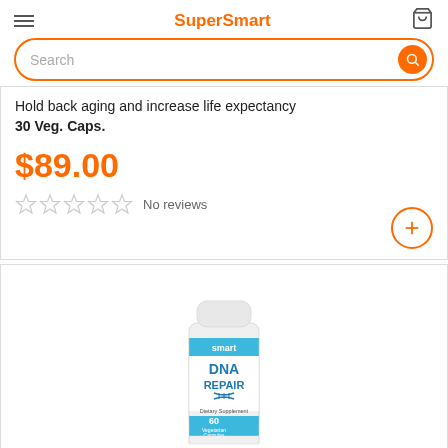SuperSmart
Hold back aging and increase life expectancy
30 Veg. Caps.
$89.00
No reviews
[Figure (photo): DNA Repair supplement bottle, 60 Vegetarian Capsules, Dietary Supplement, SuperSmart brand]